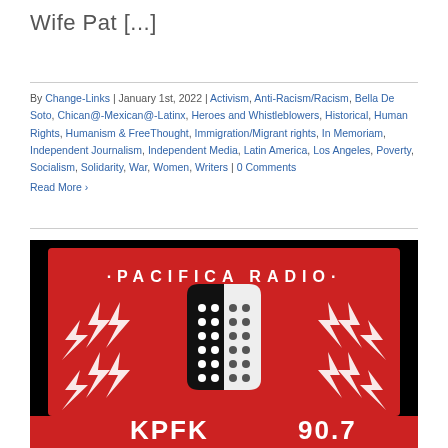Wife Pat [...]
By Change-Links | January 1st, 2022 | Activism, Anti-Racism/Racism, Bella De Soto, Chican@-Mexican@-Latinx, Heroes and Whistleblowers, Historical, Human Rights, Humanism & FreeThought, Immigration/Migrant rights, In Memoriam, Independent Journalism, Independent Media, Latin America, Los Angeles, Poverty, Socialism, Solidarity, War, Women, Writers | 0 Comments
Read More >
[Figure (logo): Pacifica Radio logo — red background with stylized lightning bolts and a black-and-white microphone graphic. Text reads PACIFICA RADIO at the top. Partial text at bottom appears to be KPFK.]